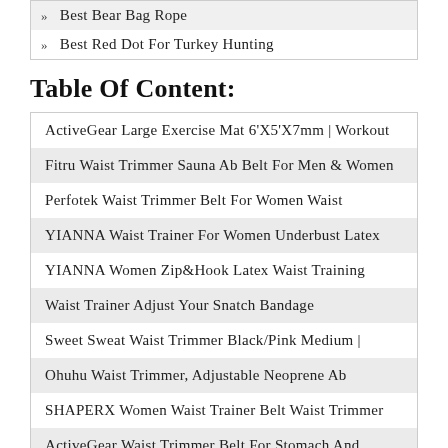» Best Bear Bag Rope
» Best Red Dot For Turkey Hunting
Table Of Content:
ActiveGear Large Exercise Mat 6'X5'X7mm | Workout
Fitru Waist Trimmer Sauna Ab Belt For Men & Women
Perfotek Waist Trimmer Belt For Women Waist
YIANNA Waist Trainer For Women Underbust Latex
YIANNA Women Zip&Hook Latex Waist Training
Waist Trainer Adjust Your Snatch Bandage
Sweet Sweat Waist Trimmer Black/Pink Medium |
Ohuhu Waist Trimmer, Adjustable Neoprene Ab
SHAPERX Women Waist Trainer Belt Waist Trimmer
ActiveGear Waist Trimmer Belt For Stomach And